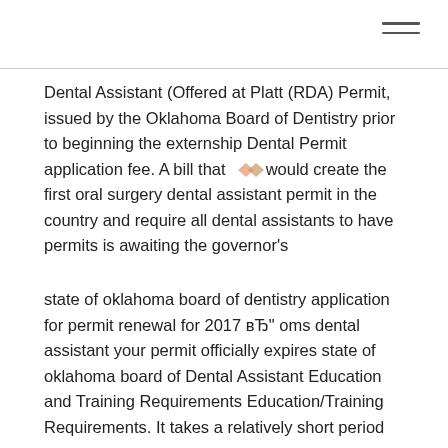Dental Assistant (Offered at Platt (RDA) Permit, issued by the Oklahoma Board of Dentistry prior to beginning the externship Dental Permit application fee. A bill that would create the first oral surgery dental assistant permit in the country and require all dental assistants to have permits is awaiting the governor's
state of oklahoma board of dentistry application for permit renewal for 2017 вЂ" oms dental assistant your permit officially expires state of oklahoma board of Dental Assistant Education and Training Requirements Education/Training Requirements. It takes a relatively short period